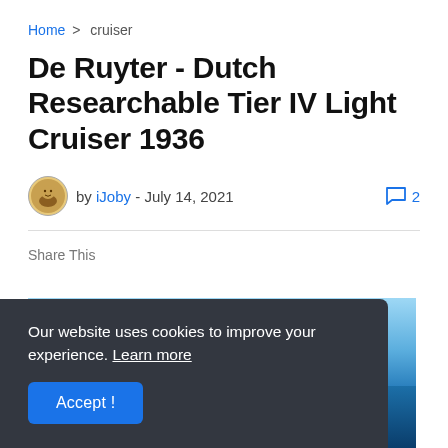Home > cruiser
De Ruyter - Dutch Researchable Tier IV Light Cruiser 1936
by iJoby - July 14, 2021  💬 2
Share This
[Figure (screenshot): Screenshot of WOWS game with sky and sea background, showing WOWS logo text in cyan]
Our website uses cookies to improve your experience. Learn more
Accept !